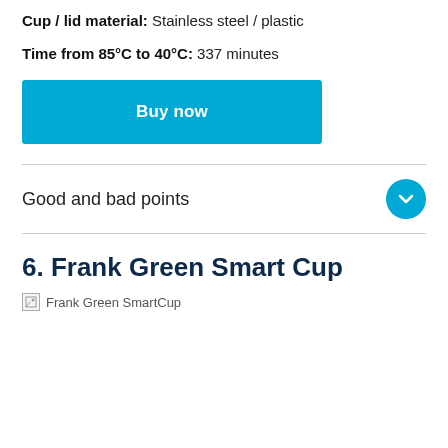Cup / lid material: Stainless steel / plastic
Time from 85°C to 40°C: 337 minutes
Buy now
Good and bad points
6. Frank Green Smart Cup
[Figure (photo): Broken image placeholder for Frank Green SmartCup]